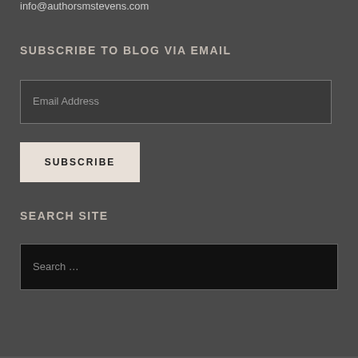info@authorsmstevens.com
SUBSCRIBE TO BLOG VIA EMAIL
Email Address
SUBSCRIBE
SEARCH SITE
Search …